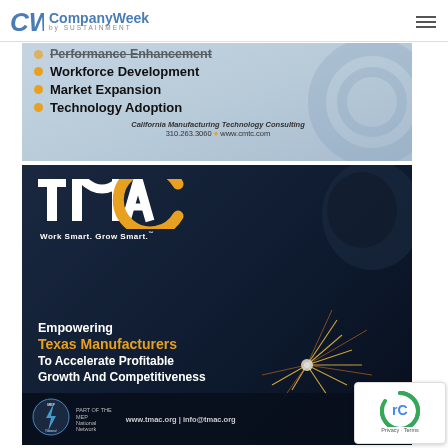CompanyWeek by Sustainment
[Figure (illustration): CMTC advertisement banner (partial, top cut off) showing bullet points: Performance Enhancement (struck through/partially visible), Workforce Development, Market Expansion, Technology Adoption, with California Manufacturing Technology Consulting logo and contact: 310.263.3060 · www.cmtc.com]
[Figure (illustration): TMAC advertisement banner with dark blue background and welding spark imagery. Shows TMAC logo, tagline 'Work Smart. Grow Smart.' and text 'Empowering Texas Manufacturers To Accelerate Profitable Growth And Competitiveness' with www.tmac.org | info@tmac.org and MEP National Network badge at bottom.]